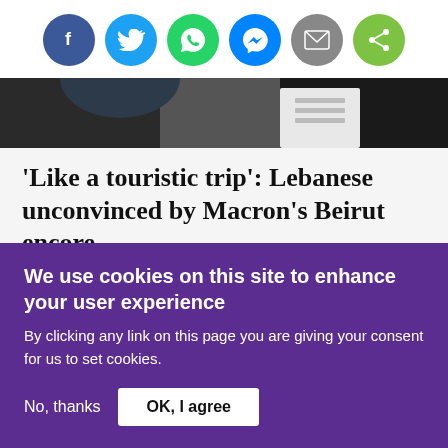[Figure (infographic): Social sharing icon buttons in circles: Facebook (blue), Twitter (light blue), WhatsApp (green), Messenger (blue), Email (grey), Share (green)]
[Figure (photo): Black and white partial photo of a person in a suit, partially visible, dark background]
'Like a touristic trip': Lebanese unconvinced by Macron's Beirut encore
Read More »
We use cookies on this site to enhance your user experience
By clicking any link on this page you are giving your consent for us to set cookies.
No, thanks   OK, I agree